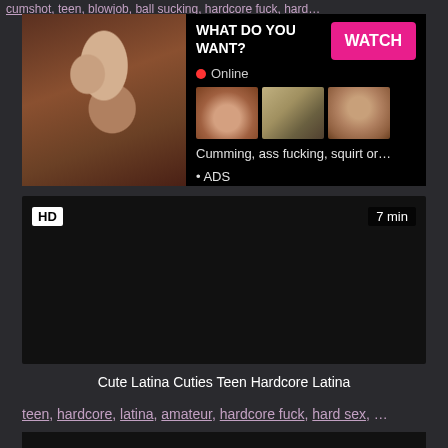cumshot, teen, blowjob, ball sucking, hardcore fuck, hard...
[Figure (photo): Adult content advertisement banner with photo and watch button]
HD   7 min
Cute Latina Cuties Teen Hardcore Latina
teen, hardcore, latina, amateur, hardcore fuck, hard sex, ...
[Figure (photo): Dark video thumbnail]